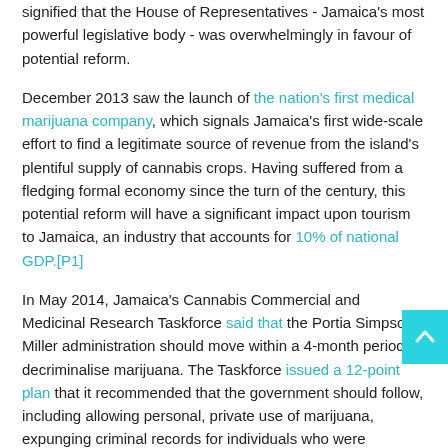signified that the House of Representatives - Jamaica's most powerful legislative body - was overwhelmingly in favour of potential reform.
December 2013 saw the launch of the nation's first medical marijuana company, which signals Jamaica's first wide-scale effort to find a legitimate source of revenue from the island's plentiful supply of cannabis crops. Having suffered from a fledging formal economy since the turn of the century, this potential reform will have a significant impact upon tourism to Jamaica, an industry that accounts for 10% of national GDP.[P1]
In May 2014, Jamaica's Cannabis Commercial and Medicinal Research Taskforce said that the Portia Simpson Miller administration should move within a 4-month period to decriminalise marijuana. The Taskforce issued a 12-point plan that it recommended that the government should follow, including allowing personal, private use of marijuana, expunging criminal records for individuals who were previously charged for its use, and recognising the rights of groups that smoke ganja for religious